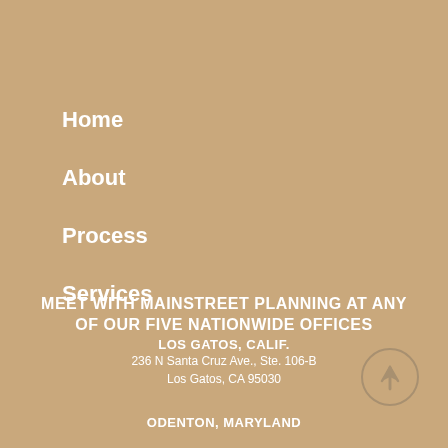Home
About
Process
Services
Blog
MEET WITH MAINSTREET PLANNING AT ANY OF OUR FIVE NATIONWIDE OFFICES
LOS GATOS, CALIF.
236 N Santa Cruz Ave., Ste. 106-B
Los Gatos, CA 95030
ODENTON, MARYLAND